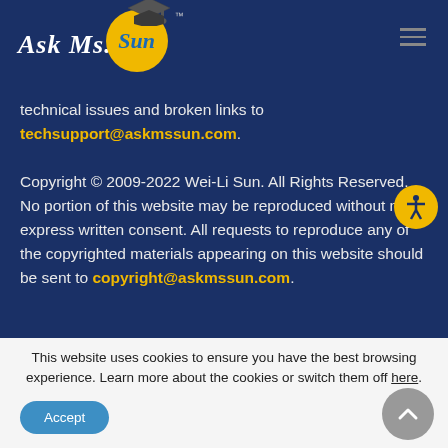[Figure (logo): Ask Ms. Sun logo with graduation cap on yellow circle]
technical issues and broken links to techsupport@askmssun.com.
Copyright © 2009-2022 Wei-Li Sun. All Rights Reserved. No portion of this website may be reproduced without my express written consent. All requests to reproduce any of the copyrighted materials appearing on this website should be sent to copyright@askmssun.com.
This website uses cookies to ensure you have the best browsing experience. Learn more about the cookies or switch them off here.